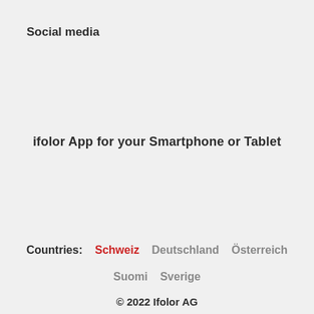Social media
ifolor App for your Smartphone or Tablet
Countries:  Schweiz  Deutschland  Österreich  Suomi  Sverige
© 2022 Ifolor AG